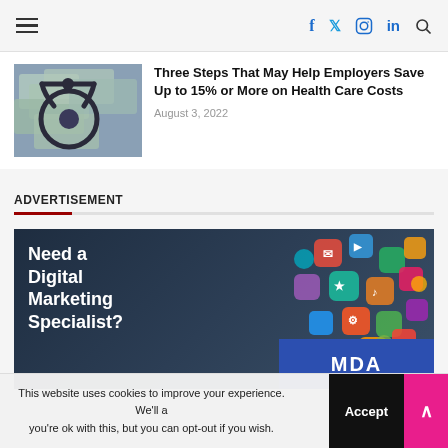Navigation bar with hamburger menu and social icons (f, twitter, instagram, in, search)
[Figure (photo): Stethoscope on top of US dollar bills — health care cost concept image]
Three Steps That May Help Employers Save Up to 15% or More on Health Care Costs
August 3, 2022
ADVERTISEMENT
[Figure (photo): Digital marketing advertisement banner with text 'Need a Digital Marketing Specialist?' and colorful social media app icons floating over dark background, with blue banner at bottom]
This website uses cookies to improve your experience. We'll assume you're ok with this, but you can opt-out if you wish.  Accept